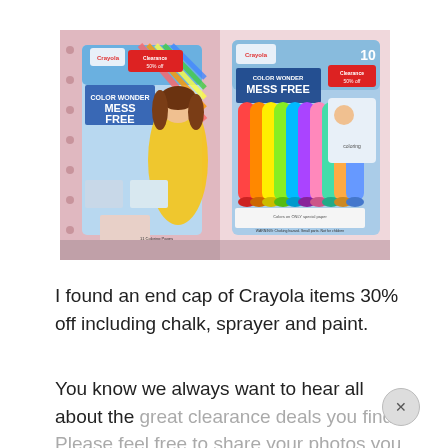[Figure (photo): Two Crayola Color Wonder Mess Free coloring products on a retail shelf pegboard. Left: a Disney Princess Belle coloring book set with clearance tag. Right: a 10-pack of Color Wonder markers in a blue package with clearance tag.]
I found an end cap of Crayola items 30% off including chalk, sprayer and paint.
You know we always want to hear all about the great clearance deals you find.  Please feel free to share your photos you may have any of the